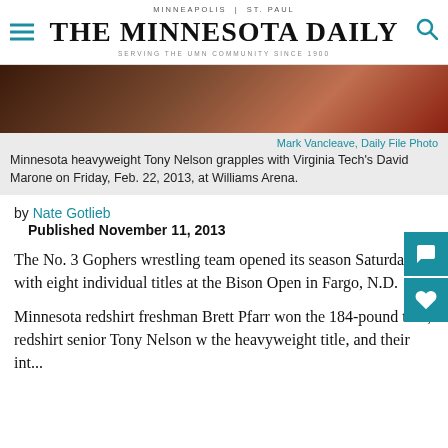MINNEAPOLIS | ST. PAUL
THE MINNESOTA DAILY
SERVING THE UMN COMMUNITY SINCE 1900
[Figure (photo): Cropped photo of Minnesota heavyweight Tony Nelson grappling with Virginia Tech's David Marone]
Mark Vancleave, Daily File Photo
Minnesota heavyweight Tony Nelson grapples with Virginia Tech's David Marone on Friday, Feb. 22, 2013, at Williams Arena.
by Nate Gotlieb
Published November 11, 2013
The No. 3 Gophers wrestling team opened its season Saturday with eight individual titles at the Bison Open in Fargo, N.D.
Minnesota redshirt freshman Brett Pfarr won the 184-pound title, redshirt senior Tony Nelson w the heavyweight title, and their teammates combined to...